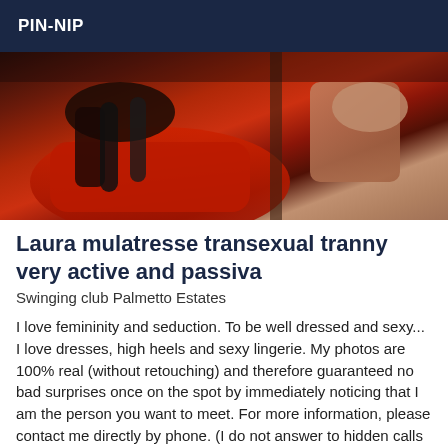PIN-NIP
[Figure (photo): Photo showing a person in lingerie and stockings on a red surface, with another person visible on the right side.]
Laura mulatresse transexual tranny very active and passiva
Swinging club Palmetto Estates
I love femininity and seduction. To be well dressed and sexy... I love dresses, high heels and sexy lingerie. My photos are 100% real (without retouching) and therefore guaranteed no bad surprises once on the spot by immediately noticing that I am the person you want to meet. For more information, please contact me directly by phone. (I do not answer to hidden calls and **s ) I receive only by appointment, taken the same day, 30 minutes before